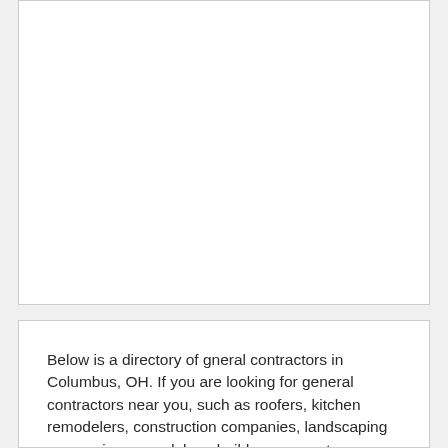[Figure (other): Large white blank rectangular box, appears to be a placeholder for an image or advertisement]
Below is a directory of gneral contractors in Columbus, OH. If you are looking for general contractors near you, such as roofers, kitchen remodelers, construction companies, landscaping companies, remodelers, builders, concrete